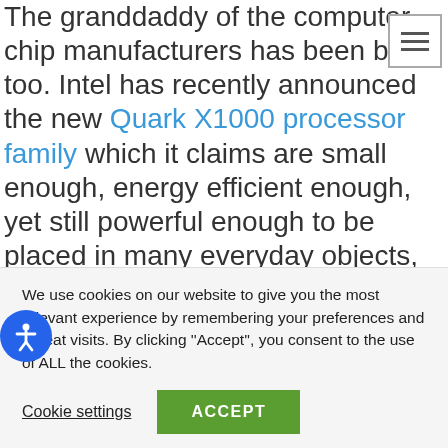The granddaddy of the computer chip manufacturers has been busy too. Intel has recently announced the new Quark X1000 processor family which it claims are small enough, energy efficient enough, yet still powerful enough to be placed in many everyday objects, further adding to the so-called “Internet of Things.” These tiny sensing, computing and most importantly connected devices should be able to provide data that cities, states and even individual homeowners can use to create smarter places to live and work. Intel isn’t alone in this venture however, as competitor ARM is also working to
We use cookies on our website to give you the most relevant experience by remembering your preferences and repeat visits. By clicking ’’Accept’’, you consent to the use of ALL the cookies.
Cookie settings    ACCEPT